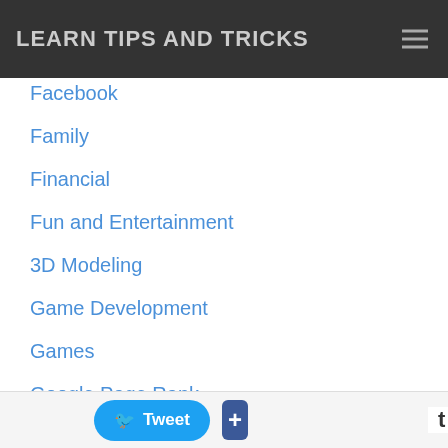LEARN TIPS AND TRICKS
Facebook
Family
Financial
Fun and Entertainment
3D Modeling
Game Development
Games
Google Page Rank
Guest Articles
Health
Home Improvement
Insurance
Joomla
Tweet +  t